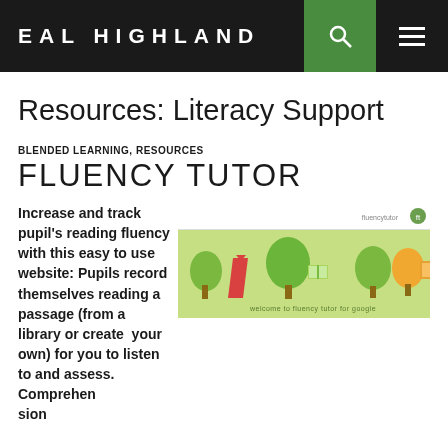EAL HIGHLAND
Resources: Literacy Support
BLENDED LEARNING, RESOURCES
FLUENCY TUTOR
Increase and track pupil's reading fluency with this easy to use website: Pupils record themselves reading a passage (from a library or create  your own) for you to listen to and assess.
Comprehen sion
[Figure (screenshot): Screenshot of the Fluency Tutor for Google welcome page with green trees and colorful book graphics on a green background]